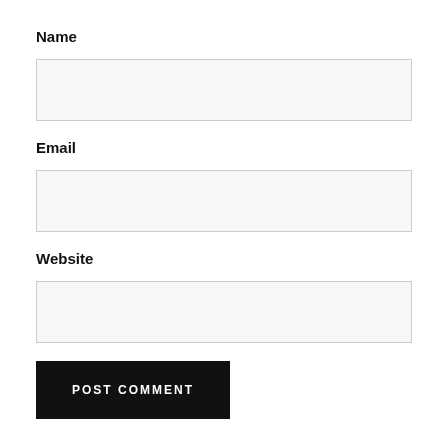Name
[Figure (screenshot): Empty text input field for Name]
Email
[Figure (screenshot): Empty text input field for Email]
Website
[Figure (screenshot): Empty text input field for Website]
[Figure (screenshot): POST COMMENT button, black background, white uppercase text]
Notify me of new comments via email.
Notify me of new posts via email.